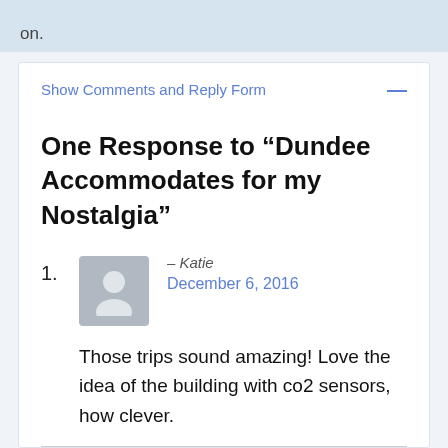on.
Show Comments and Reply Form
One Response to “Dundee Accommodates for my Nostalgia”
1. – Katie | December 6, 2016 | Those trips sound amazing! Love the idea of the building with co2 sensors, how clever. | Reply